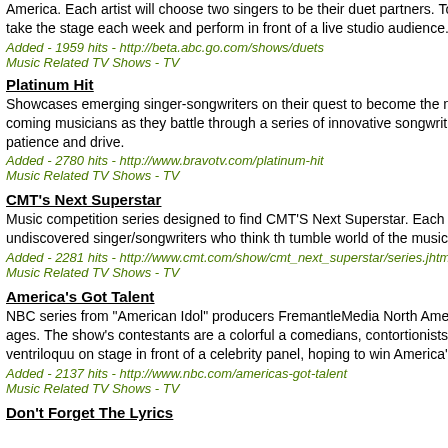America. Each artist will choose two singers to be their duet partners. Together, the artist and their protégé will take the stage each week and perform in front of a live studio audience.
Added - 1959 hits - http://beta.abc.go.com/shows/duets
Music Related TV Shows - TV
Platinum Hit
Showcases emerging singer-songwriters on their quest to become the next big hitmaker, following 12 up-and-coming musicians as they battle through a series of innovative songwriting challenges testing their creativity, patience and drive.
Added - 2780 hits - http://www.bravotv.com/platinum-hit
Music Related TV Shows - TV
CMT's Next Superstar
Music competition series designed to find CMT'S Next Superstar. Each episo star, and will open the door for undiscovered singer/songwriters who think th tumble world of the music industry.
Added - 2281 hits - http://www.cmt.com/show/cmt_next_superstar/series.jhtml
Music Related TV Shows - TV
America's Got Talent
NBC series from "American Idol" producers FremantleMedia North America a talent search open to acts of all ages. The show's contestants are a colorful a comedians, contortionists, impressionists, jugglers, magicians and ventriloquu on stage in front of a celebrity panel, hoping to win America's hearts and the
Added - 2137 hits - http://www.nbc.com/americas-got-talent
Music Related TV Shows - TV
Don't Forget The Lyrics
Performing Rights/Ro...
Copyright
Music Related Tax Info
Sheet Music
Song Lyrics
Karaoke
Recording Studios
Livingston County
Sort by
Posting date
Most Popular
Topic